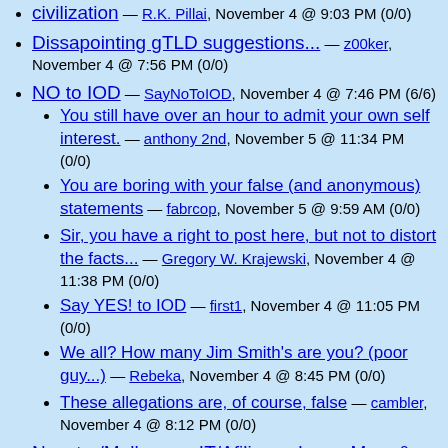civilization — R.K. Pillai, November 4 @ 9:03 PM (0/0)
Dissapointing gTLD suggestions... — z00ker, November 4 @ 7:56 PM (0/0)
NO to IOD — SayNoToIOD, November 4 @ 7:46 PM (6/6)
You still have over an hour to admit your own self interest. — anthony 2nd, November 5 @ 11:34 PM (0/0)
You are boring with your false (and anonymous) statements — fabrcop, November 5 @ 9:59 AM (0/0)
Sir, you have a right to post here, but not to distort the facts... — Gregory W. Krajewski, November 4 @ 11:38 PM (0/0)
Say YES! to IOD — first1, November 4 @ 11:05 PM (0/0)
We all? How many Jim Smith's are you? (poor guy...) — Rebeka, November 4 @ 8:45 PM (0/0)
These allegations are, of course, false — cambler, November 4 @ 8:12 PM (0/0)
Neustar/Melbourne IT/Afilias ... Larry, Moe, & Curly — dcorish, November 4 @ 2:39 PM (1/1)
Who wins? NSI — west coast, November 5 @ 1:20 AM (0/0)
ICANN: Please correct *NEW* errors before nov ...